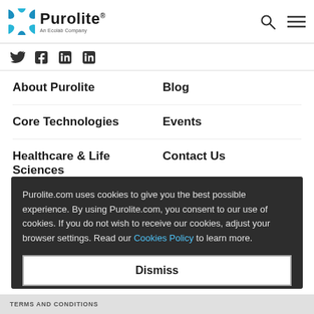Purolite — An Ecolab Company
[Figure (logo): Purolite logo with blue hexagonal icon and text 'Purolite / An Ecolab Company']
[Figure (illustration): Social media icons: Twitter, Facebook, LinkedIn, LinkedIn]
About Purolite
Blog
Core Technologies
Events
Healthcare & Life Sciences
Contact Us
Locations
Purolite.com uses cookies to give you the best possible experience. By using Purolite.com, you consent to our use of cookies. If you do not wish to receive our cookies, adjust your browser settings. Read our Cookies Policy to learn more.
Dismiss
TERMS AND CONDITIONS